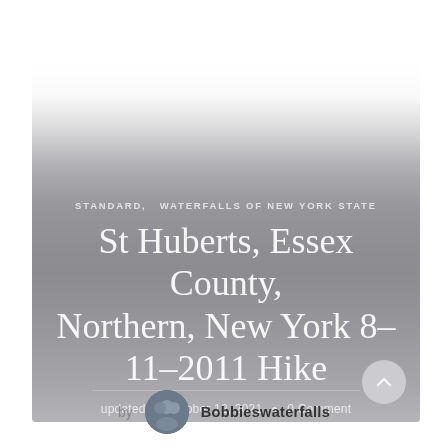[Figure (screenshot): Blog post hero image with gray gradient background overlaid with text showing a post about St Huberts, Essex County hike]
STANDARD,  WATERFALLS OF NEW YORK STATE
St Huberts, Essex County, Northern, New York 8–11–2011 Hike
updated on October 12, 2021  •  0 Comment
by  Bobbieswaterfalls